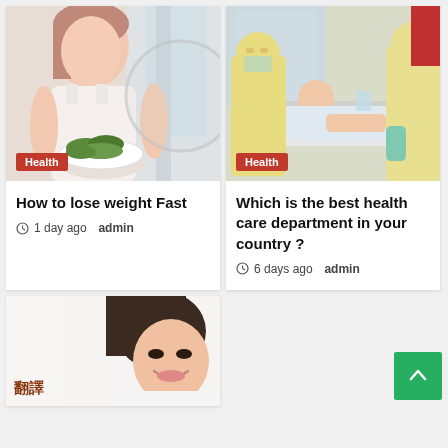[Figure (photo): Woman holding a bowl of salad greens, health article thumbnail]
Health
How to lose weight Fast
1 day ago  admin
[Figure (photo): Medical workers in PPE attending to a patient in a hospital bed, health article thumbnail]
Health
Which is the best health care department in your country ?
6 days ago  admin
[Figure (photo): Smiling Asian woman, partial view, article thumbnail]
翻譯